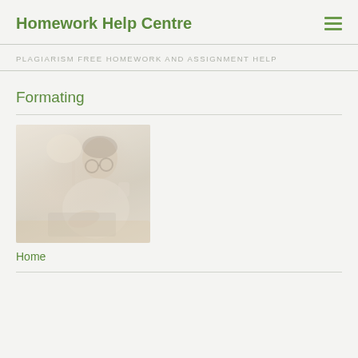Homework Help Centre
PLAGIARISM FREE HOMEWORK AND ASSIGNMENT HELP
Formating
[Figure (photo): Faded/washed-out photo of a young woman with glasses smiling, sitting with a laptop, holding a cup, in a home setting with a lamp in background.]
Home